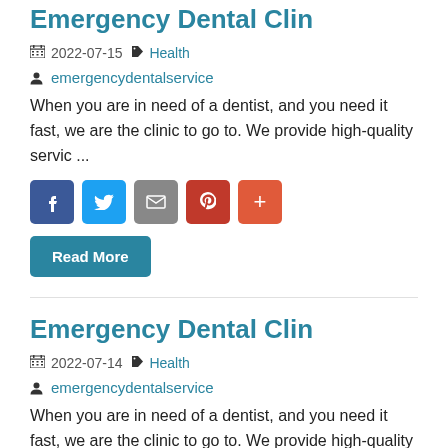Emergency Dental Clin
2022-07-15  Health
emergencydentalservice
When you are in need of a dentist, and you need it fast, we are the clinic to go to. We provide high-quality servic ...
Read More
Emergency Dental Clin
2022-07-14  Health
emergencydentalservice
When you are in need of a dentist, and you need it fast, we are the clinic to go to. We provide high-quality